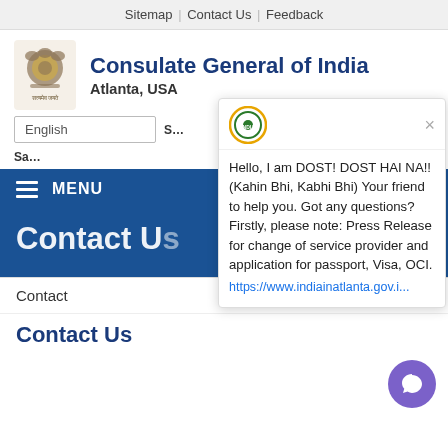Sitemap | Contact Us | Feedback
Consulate General of India Atlanta, USA
English
MENU
Contact Us
Hello, I am DOST! DOST HAI NA!! (Kahin Bhi, Kabhi Bhi) Your friend to help you. Got any questions? Firstly, please note: Press Release for change of service provider and application for passport, Visa, OCI. https://www.indiainatlanta.gov.i...
Contact
Contact Us